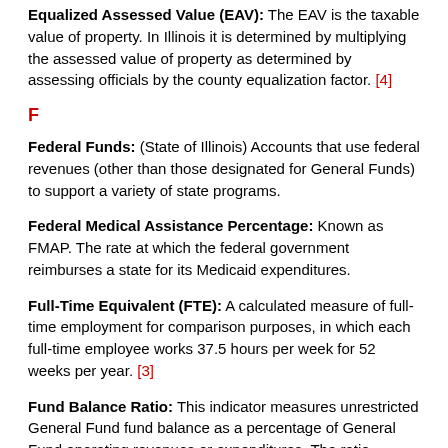Equalized Assessed Value (EAV): The EAV is the taxable value of property. In Illinois it is determined by multiplying the assessed value of property as determined by assessing officials by the county equalization factor. [4]
F
Federal Funds: (State of Illinois) Accounts that use federal revenues (other than those designated for General Funds) to support a variety of state programs.
Federal Medical Assistance Percentage: Known as FMAP. The rate at which the federal government reimburses a state for its Medicaid expenditures.
Full-Time Equivalent (FTE): A calculated measure of full-time employment for comparison purposes, in which each full-time employee works 37.5 hours per week for 52 weeks per year. [3]
Fund Balance Ratio: This indicator measures unrestricted General Fund fund balance as a percentage of General Fund operating revenues or expenditures. The ratio represents savings that the government has accumulated. The Government Finance